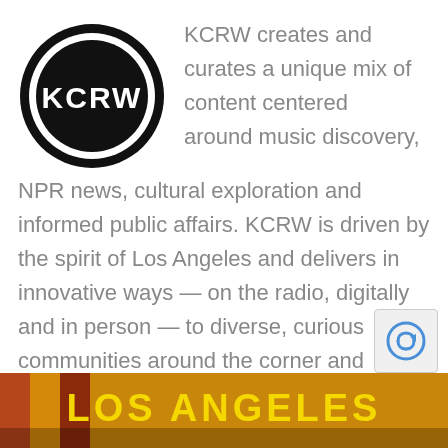[Figure (logo): KCRW circular black logo with white text 'KCRW' in bold, surrounded by a double-ring border]
KCRW creates and curates a unique mix of content centered around music discovery, NPR news, cultural exploration and informed public affairs. KCRW is driven by the spirit of Los Angeles and delivers in innovative ways — on the radio, digitally and in person — to diverse, curious communities around the corner and around the world.
[Figure (photo): Bottom portion of page showing 'LOS ANGELES' text banner with two people partially visible, cropped screenshot of a webpage]